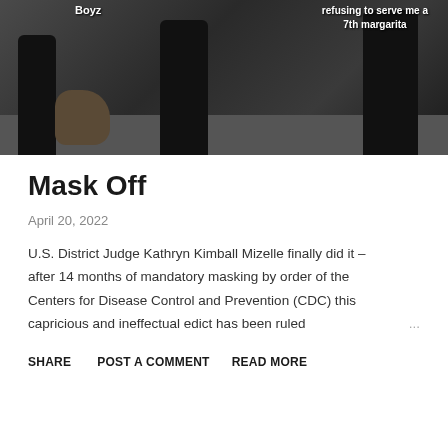[Figure (photo): A meme photo showing people walking on a wet street with a dog, overlaid with text 'Boyz' and 'refusing to serve me a 7th margarita']
Mask Off
April 20, 2022
U.S. District Judge Kathryn Kimball Mizelle finally did it – after 14 months of mandatory masking by order of the Centers for Disease Control and Prevention (CDC) this capricious and ineffectual edict has been ruled ...
SHARE  POST A COMMENT  READ MORE